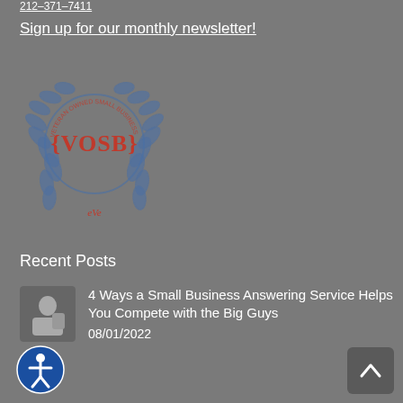Sign up for our monthly newsletter!
[Figure (logo): VOSB (Veteran-Owned Small Business) certification seal with laurel wreath in blue and red text]
Recent Posts
4 Ways a Small Business Answering Service Helps You Compete with the Big Guys
08/01/2022